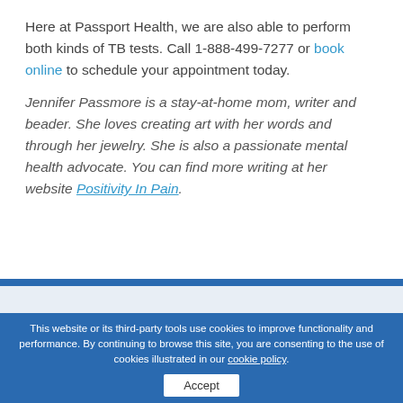Here at Passport Health, we are also able to perform both kinds of TB tests. Call 1-888-499-7277 or book online to schedule your appointment today.
Jennifer Passmore is a stay-at-home mom, writer and beader. She loves creating art with her words and through her jewelry. She is also a passionate mental health advocate. You can find more writing at her website Positivity In Pain.
This website or its third-party tools use cookies to improve functionality and performance. By continuing to browse this site, you are consenting to the use of cookies illustrated in our cookie policy.